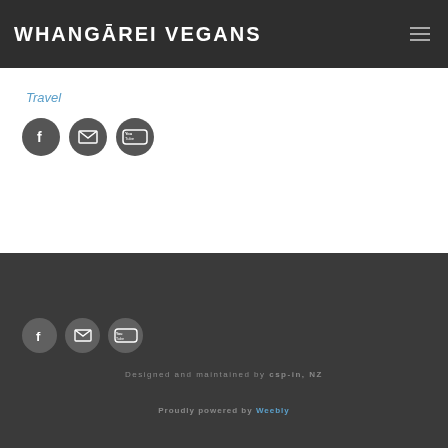WHANGĀREI VEGANS
Travel
[Figure (infographic): Three circular social media icons: Facebook (f), Email (envelope), YouTube (You Tube logo) — dark gray circles on white background]
[Figure (infographic): Three circular social media icons: Facebook (f), Email (envelope), YouTube (You Tube logo) — dark gray circles on dark background]
Designed and maintained by csp-in, NZ
Proudly powered by Weebly